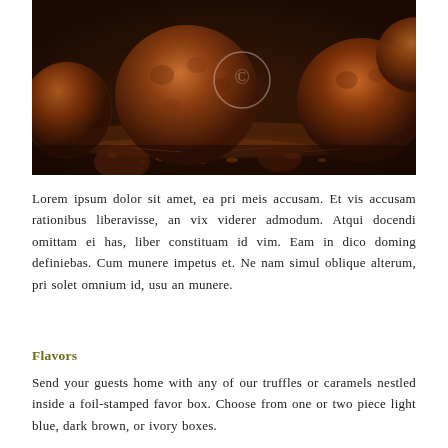[Figure (photo): Close-up photograph of cocoa-dusted chocolate truffles on a dark surface with scattered cocoa powder. A faint copyright circle watermark is visible in the center.]
Lorem ipsum dolor sit amet, ea pri meis accusam. Et vis accusam rationibus liberavisse, an vix viderer admodum. Atqui docendi omittam ei has, liber constituam id vim. Eam in dico doming definiebas. Cum munere impetus et. Ne nam simul oblique alterum, pri solet omnium id, usu an munere.
Flavors
Send your guests home with any of our truffles or caramels nestled inside a foil-stamped favor box. Choose from one or two piece light blue, dark brown, or ivory boxes.